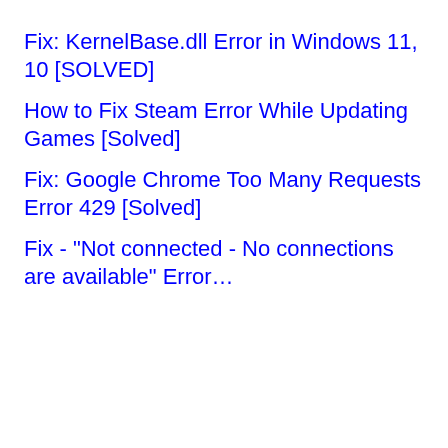Fix: KernelBase.dll Error in Windows 11, 10 [SOLVED]
How to Fix Steam Error While Updating Games [Solved]
Fix: Google Chrome Too Many Requests Error 429 [Solved]
Fix - "Not connected - No connections are available" Error…